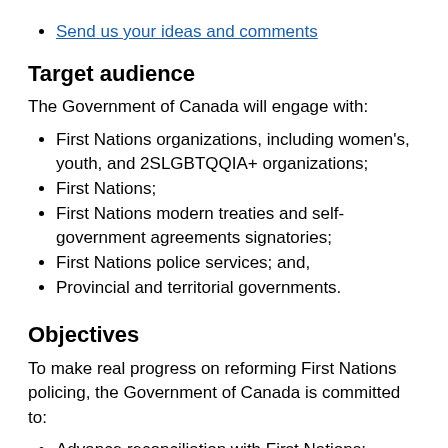Send us your ideas and comments
Target audience
The Government of Canada will engage with:
First Nations organizations, including women's, youth, and 2SLGBTQQIA+ organizations;
First Nations;
First Nations modern treaties and self-government agreements signatories;
First Nations police services; and,
Provincial and territorial governments.
Objectives
To make real progress on reforming First Nations policing, the Government of Canada is committed to:
Advance reconciliation with First Nations;
Work in cooperation and partnership with First